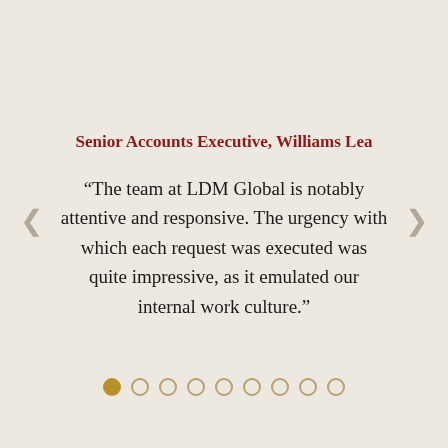Senior Accounts Executive, Williams Lea
“The team at LDM Global is notably attentive and responsive. The urgency with which each request was executed was quite impressive, as it emulated our internal work culture.”
[Figure (infographic): Carousel navigation dots: 9 dots total, first dot filled/active in gold, remaining 8 dots are empty circles with gold border]